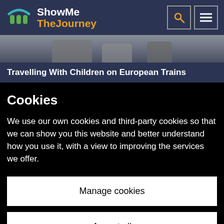ShowMe TheJourney
[Figure (photo): Partial photo of people, blurred/cropped, used as article banner image]
Travelling With Children on European Trains
Cookies
We use our own cookies and third-party cookies so that we can show you this website and better understand how you use it, with a view to improving the services we offer.
Manage cookies
Accept all